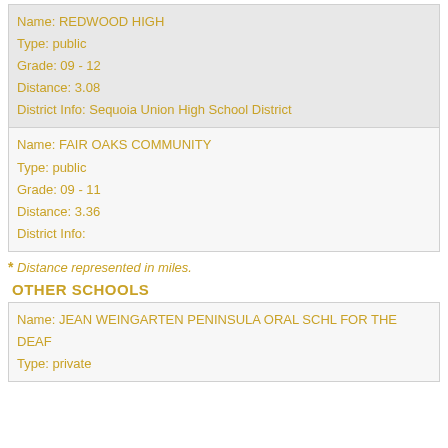Name:   REDWOOD HIGH
Type:   public
Grade:   09 - 12
Distance:   3.08
District Info:   Sequoia Union High School District
Name:   FAIR OAKS COMMUNITY
Type:   public
Grade:   09 - 11
Distance:   3.36
District Info:
* Distance represented in miles.
OTHER SCHOOLS
Name:   JEAN WEINGARTEN PENINSULA ORAL SCHL FOR THE DEAF
Type:   private